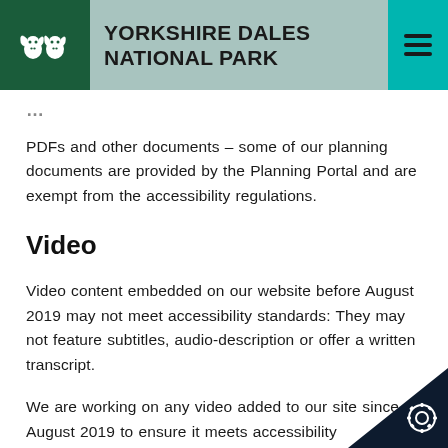YORKSHIRE DALES NATIONAL PARK
PDFs and other documents – some of our planning documents are provided by the Planning Portal and are exempt from the accessibility regulations.
Video
Video content embedded on our website before August 2019 may not meet accessibility standards: They may not feature subtitles, audio-description or offer a written transcript.
We are working on any video added to our site since August 2019 to ensure it meets accessibility